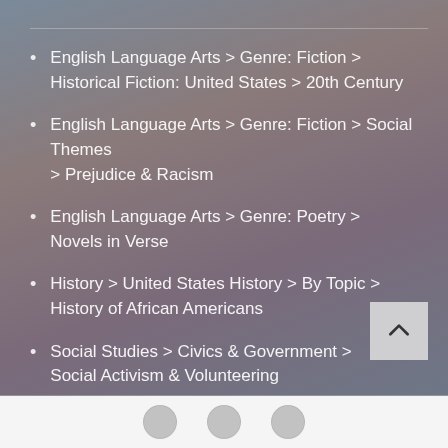English Language Arts > Genre: Fiction > Historical Fiction: United States > 20th Century
English Language Arts > Genre: Fiction > Social Themes > Prejudice & Racism
English Language Arts > Genre: Poetry > Novels in Verse
History > United States History > By Topic > History of African Americans
Social Studies > Civics & Government > Social Activism & Volunteering
Social Studies > Sociology > Race / Class / Gender